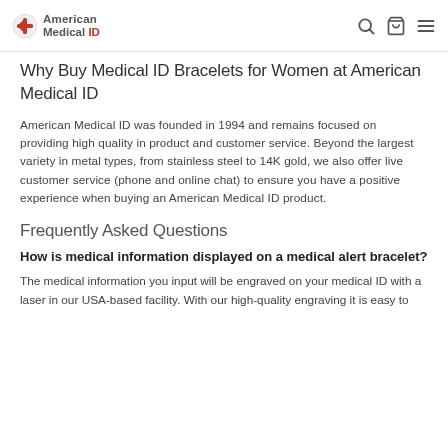American Medical ID — navigation header with search, cart, and menu icons
Why Buy Medical ID Bracelets for Women at American Medical ID
American Medical ID was founded in 1994 and remains focused on providing high quality in product and customer service. Beyond the largest variety in metal types, from stainless steel to 14K gold, we also offer live customer service (phone and online chat) to ensure you have a positive experience when buying an American Medical ID product.
Frequently Asked Questions
How is medical information displayed on a medical alert bracelet?
The medical information you input will be engraved on your medical ID with a laser in our USA-based facility. With our high-quality engraving it is easy to